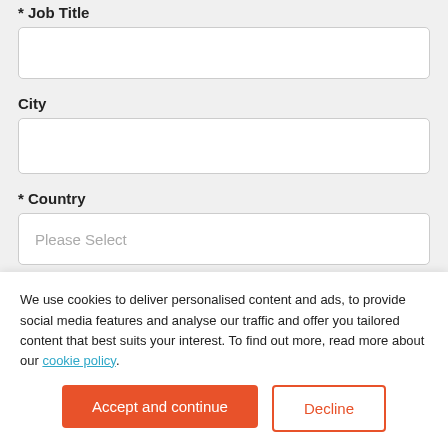* Job Title
City
* Country
* Your Message Here:
We use cookies to deliver personalised content and ads, to provide social media features and analyse our traffic and offer you tailored content that best suits your interest. To find out more, read more about our cookie policy.
Accept and continue
Decline